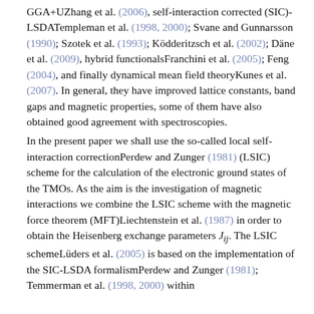GGA+UZhang et al. (2006), self-interaction corrected (SIC)-LSDATempleman et al. (1998, 2000); Svane and Gunnarsson (1990); Szotek et al. (1993); Ködderitzsch et al. (2002); Däne et al. (2009), hybrid functionalsFranchini et al. (2005); Feng (2004), and finally dynamical mean field theoryKunes et al. (2007). In general, they have improved lattice constants, band gaps and magnetic properties, some of them have also obtained good agreement with spectroscopies.
In the present paper we shall use the so-called local self-interaction correctionPerdew and Zunger (1981) (LSIC) scheme for the calculation of the electronic ground states of the TMOs. As the aim is the investigation of magnetic interactions we combine the LSIC scheme with the magnetic force theorem (MFT)Liechtenstein et al. (1987) in order to obtain the Heisenberg exchange parameters J_ij. The LSIC schemeLüders et al. (2005) is based on the implementation of the SIC-LSDA formalismPerdew and Zunger (1981); Temmerman et al. (1998, 2000) within